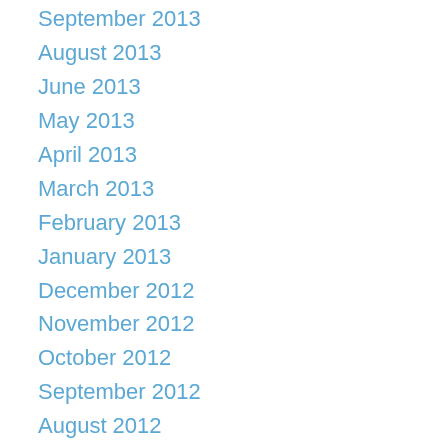September 2013
August 2013
June 2013
May 2013
April 2013
March 2013
February 2013
January 2013
December 2012
November 2012
October 2012
September 2012
August 2012
July 2012
June 2012
May 2012
April 2012
March 2012
February 2012
January 2012